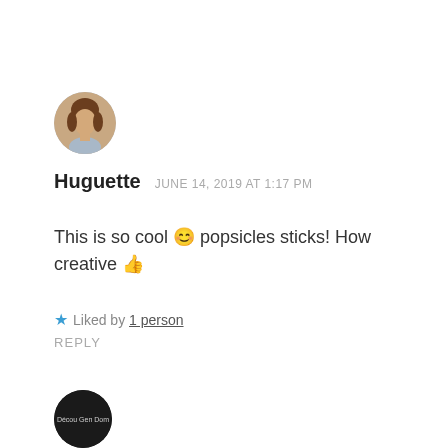[Figure (photo): Circular avatar photo of a woman with brown hair]
Huguette   JUNE 14, 2019 AT 1:17 PM
This is so cool 😊 popsicles sticks! How creative 👍
★ Liked by 1 person
REPLY
[Figure (logo): Circular dark avatar with white text logo at bottom of page]